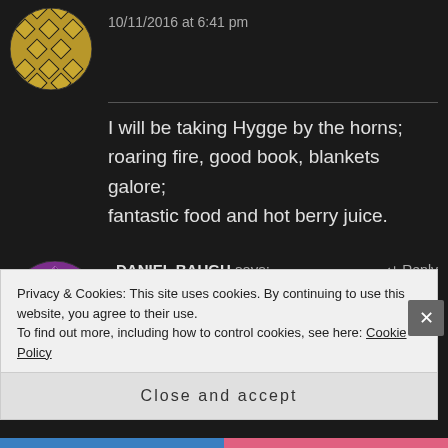[Figure (illustration): Circular avatar with gold/yellow diamond pattern on dark background (partial, top of page)]
10/11/2016 at 6:41 pm
I will be taking Hygge by the horns; roaring fire, good book, blankets galore; fantastic food and hot berry juice.
[Figure (illustration): Circular avatar with purple and white diamond/geometric pattern]
DANIEL BAUGH says:
↵ Reply
10/11/2016 at 6:44 pm
Hot Chocolate under a blanket
Privacy & Cookies: This site uses cookies. By continuing to use this website, you agree to their use.
To find out more, including how to control cookies, see here: Cookie Policy
Close and accept